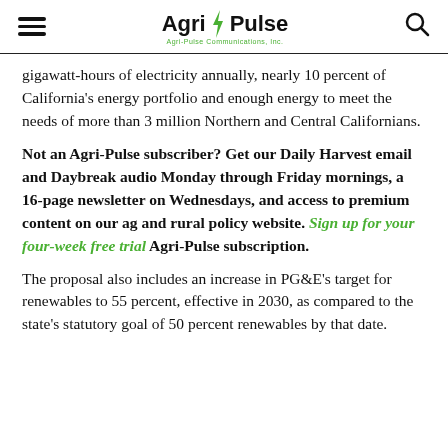Agri-Pulse
gigawatt-hours of electricity annually, nearly 10 percent of California's energy portfolio and enough energy to meet the needs of more than 3 million Northern and Central Californians.
Not an Agri-Pulse subscriber? Get our Daily Harvest email and Daybreak audio Monday through Friday mornings, a 16-page newsletter on Wednesdays, and access to premium content on our ag and rural policy website. Sign up for your four-week free trial Agri-Pulse subscription.
The proposal also includes an increase in PG&E's target for renewables to 55 percent, effective in 2030, as compared to the state's statutory goal of 50 percent renewables by that date.